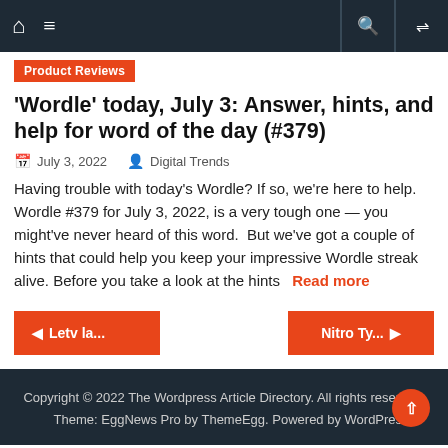Product Reviews
'Wordle' today, July 3: Answer, hints, and help for word of the day (#379)
July 3, 2022   Digital Trends
Having trouble with today's Wordle? If so, we're here to help. Wordle #379 for July 3, 2022, is a very tough one — you might've never heard of this word.  But we've got a couple of hints that could help you keep your impressive Wordle streak alive. Before you take a look at the hints   Read more
◄ Letv la...
Nitro Ty... ►
Copyright © 2022 The Wordpress Article Directory. All rights reserved.   Theme: EggNews Pro by ThemeEgg. Powered by WordPress